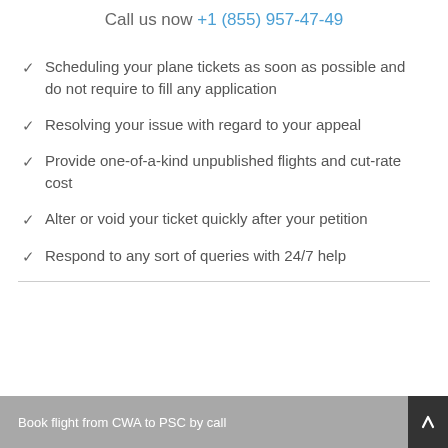Call us now +1 (855) 957-47-49
Scheduling your plane tickets as soon as possible and do not require to fill any application
Resolving your issue with regard to your appeal
Provide one-of-a-kind unpublished flights and cut-rate cost
Alter or void your ticket quickly after your petition
Respond to any sort of queries with 24/7 help
Book flight from CWA to PSC by call